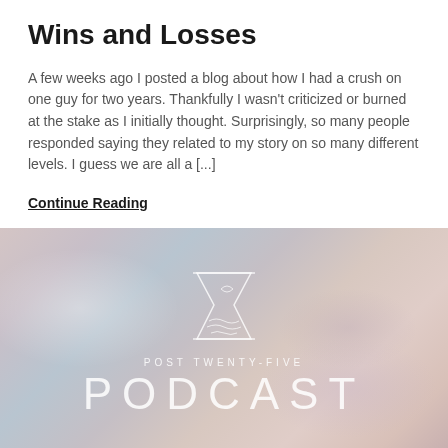Wins and Losses
A few weeks ago I posted a blog about how I had a crush on one guy for two years. Thankfully I wasn't criticized or burned at the stake as I initially thought. Surprisingly, so many people responded saying they related to my story on so many different levels. I guess we are all a [...]
Continue Reading
[Figure (logo): Post Twenty-Five Podcast logo: an hourglass illustration with wavy decorative lines inside, above the text 'POST TWENTY-FIVE' in small spaced caps and 'PODCAST' in large spaced letters, all in white over a soft pastel gradient background of pinks, lavenders, and blues suggesting a dreamy sky.]